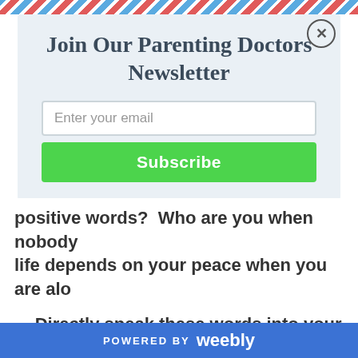Join Our Parenting Doctors Newsletter
Enter your email
Subscribe
positive words?  Who are you when nobody life depends on your peace when you are alo
Directly speak these words into your consc define your reality.
I am worthy.
POWERED BY weebly